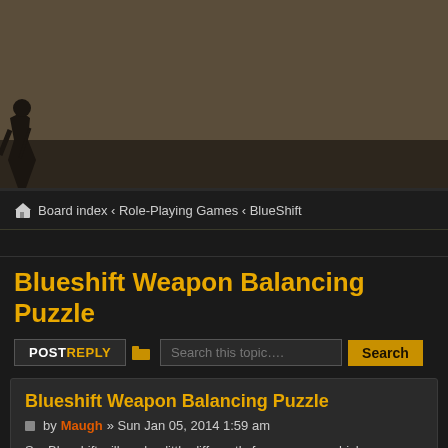[Figure (screenshot): Forum website header banner with brown/tan background and a dark silhouette figure at bottom-left]
Board index ‹ Role-Playing Games ‹ BlueShift
Blueshift Weapon Balancing Puzzle
Blueshift Weapon Balancing Puzzle
by Maugh » Sun Jan 05, 2014 1:59 am
So, Blueshift will work a little differently for weapons, which means that we need some balancing! Woot! (This post is mostly for Matt, but we can have other folks...